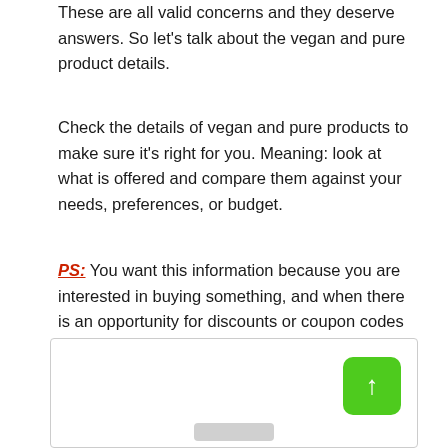These are all valid concerns and they deserve answers. So let's talk about the vegan and pure product details.
Check the details of vegan and pure products to make sure it's right for you. Meaning: look at what is offered and compare them against your needs, preferences, or budget.
PS: You want this information because you are interested in buying something, and when there is an opportunity for discounts or coupon codes (which often exist), knowing what they offer can make your purchase decision easier!
[Figure (other): A white box with a green rounded-square button showing an upward arrow (scroll-to-top button), and a grey bar at the bottom center.]